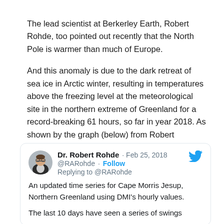The lead scientist at Berkerley Earth, Robert Rohde, too pointed out recently that the North Pole is warmer than much of Europe.
And this anomaly is due to the dark retreat of sea ice in Arctic winter, resulting in temperatures above the freezing level at the meteorological site in the northern extreme of Greenland for a record-breaking 61 hours, so far in year 2018. As shown by the graph (below) from Robert Rohde's research.
[Figure (screenshot): Embedded tweet from Dr. Robert Rohde (@RARohde), Feb 25, 2018, replying to @RARohde. Text: 'An updated time series for Cape Morris Jesup, Northern Greenland using DMI's hourly values. The last 10 days have seen a series of swings...' Twitter bird logo shown top right.]